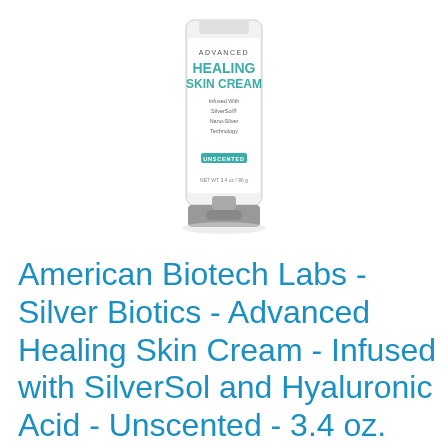[Figure (photo): A white tube of Advanced Healing Skin Cream by Silver Biotics, infused with SilverSol Nano-Silver Technology, Unscented, NET WT 3.4 oz / 96g, with a gray pump cap at the bottom.]
American Biotech Labs - Silver Biotics - Advanced Healing Skin Cream - Infused with SilverSol and Hyaluronic Acid - Unscented - 3.4 oz.